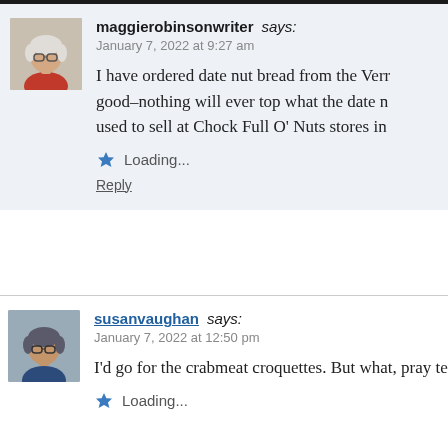maggierobinsonwriter says:
January 7, 2022 at 9:27 am

I have ordered date nut bread from the Vern... good–nothing will ever top what the date n... used to sell at Chock Full O' Nuts stores in...

Loading...

Reply
susanvaughan says:
January 7, 2022 at 12:50 pm

I'd go for the crabmeat croquettes. But what, pray tell,...

Loading...